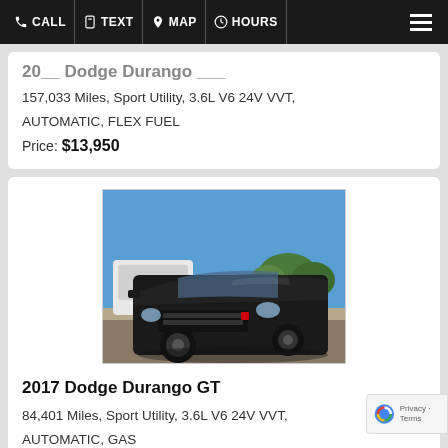CALL  TEXT  MAP  HOURS
20__ Dodge Durango ___
157,033 Miles, Sport Utility, 3.6L V6 24V VVT, AUTOMATIC, FLEX FUEL
Price: $13,950
[Figure (photo): Front view of a dark grey/black 2017 Dodge Durango GT SUV parked in a dealership lot with blue sky and trees visible in the background.]
2017 Dodge Durango GT
84,401 Miles, Sport Utility, 3.6L V6 24V VVT, AUTOMATIC, GAS
Price: $28,975